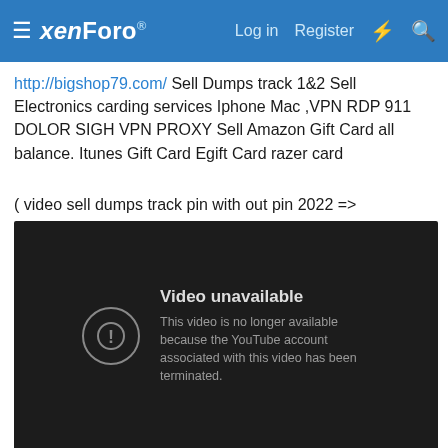xenForo | Log in | Register
http://bigshop79.com/ Sell Dumps track 1&2 Sell Electronics carding services Iphone Mac ,VPN RDP 911 DOLOR SIGH VPN PROXY Sell Amazon Gift Card all balance. Itunes Gift Card Egift Card razer card
( video sell dumps track pin with out pin 2022 =>
[Figure (screenshot): Embedded video player showing 'Video unavailable' error message: 'This video is no longer available because the YouTube account associated with this video has been terminated.']